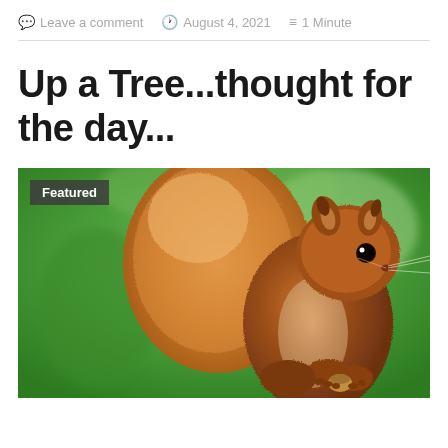Leave a comment   August 4, 2021   1 Minute
Up a Tree...thought for the day...
[Figure (photo): A red squirrel photographed against a blurred green background, sitting upright holding a nut, with a large fluffy tail curled up behind it. A 'Featured' badge appears in the top-left corner of the image.]